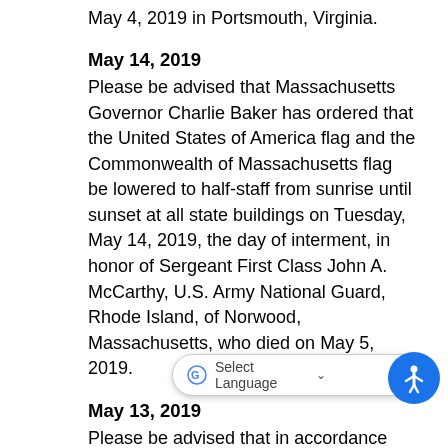May 4, 2019 in Portsmouth, Virginia.
May 14, 2019
Please be advised that Massachusetts Governor Charlie Baker has ordered that the United States of America flag and the Commonwealth of Massachusetts flag be lowered to half-staff from sunrise until sunset at all state buildings on Tuesday, May 14, 2019, the day of interment, in honor of Sergeant First Class John A. McCarthy, U.S. Army National Guard, Rhode Island, of Norwood, Massachusetts, who died on May 5, 2019.
May 13, 2019
Please be advised that in accordance with United States Public law 103-322, Massachusetts Governor Charlie Baker has ordered that the United States flag and the Commonwealth flag be lowered to half-staff at all state buildings